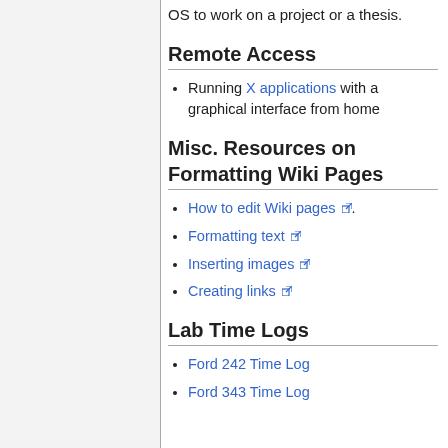OS to work on a project or a thesis.
Remote Access
Running X applications with a graphical interface from home
Misc. Resources on Formatting Wiki Pages
How to edit Wiki pages.
Formatting text
Inserting images
Creating links
Lab Time Logs
Ford 242 Time Log
Ford 343 Time Log